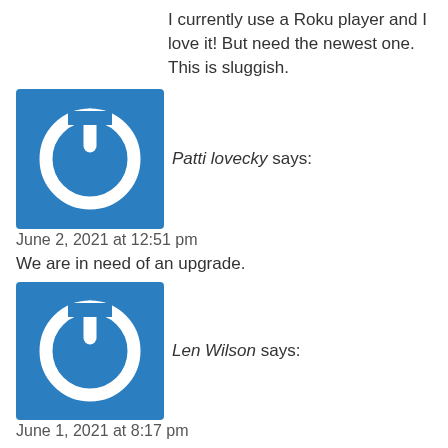I currently use a Roku player and I love it! But need the newest one. This is sluggish.
[Figure (illustration): Blue square avatar with white power button icon]
Patti lovecky says:
June 2, 2021 at 12:51 pm
We are in need of an upgrade.
[Figure (illustration): Blue square avatar with white power button icon]
Len Wilson says:
June 1, 2021 at 8:17 pm
Would like to win a great streaming tool like this
[Figure (illustration): Blue square avatar with white power button icon]
ANNE MILLAR says:
June 1, 2021 at 5:43 pm
Good quality picture that's great!